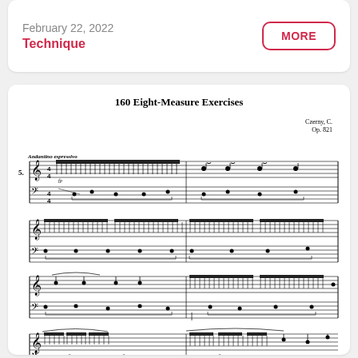February 22, 2022
Technique
MORE
160 Eight-Measure Exercises
Czerny, C.
Op. 821
[Figure (illustration): Sheet music for Czerny Op. 821, No. 5 'Andantino espressivo' showing four systems of piano music with treble and bass clef staves, featuring rapid sixteenth-note passages in the right hand.]